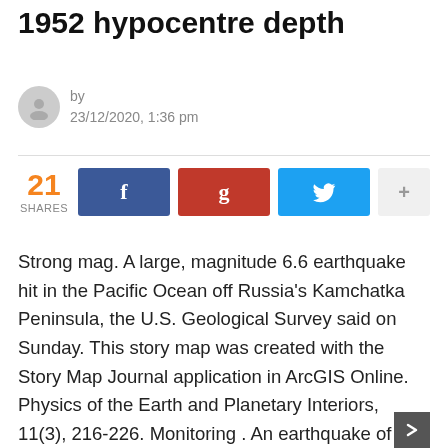1952 hypocentre depth
by
23/12/2020, 1:36 pm
[Figure (infographic): Social sharing bar showing 21 shares, with Facebook, Google+, Twitter, and more buttons]
Strong mag. A large, magnitude 6.6 earthquake hit in the Pacific Ocean off Russia's Kamchatka Peninsula, the U.S. Geological Survey said on Sunday. This story map was created with the Story Map Journal application in ArcGIS Online. Physics of the Earth and Planetary Interiors, 11(3), 216-226. Monitoring . An earthquake of magnitude 9.0 hit the coast of Kamchatka along a 350-mile subduction zone